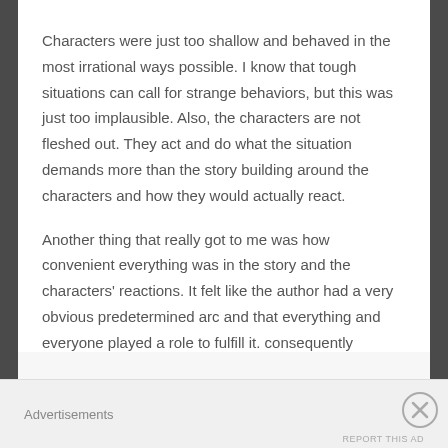Characters were just too shallow and behaved in the most irrational ways possible. I know that tough situations can call for strange behaviors, but this was just too implausible. Also, the characters are not fleshed out. They act and do what the situation demands more than the story building around the characters and how they would actually react.
Another thing that really got to me was how convenient everything was in the story and the characters' reactions. It felt like the author had a very obvious predetermined arc and that everything and everyone played a role to fulfill it. consequently
Advertisements